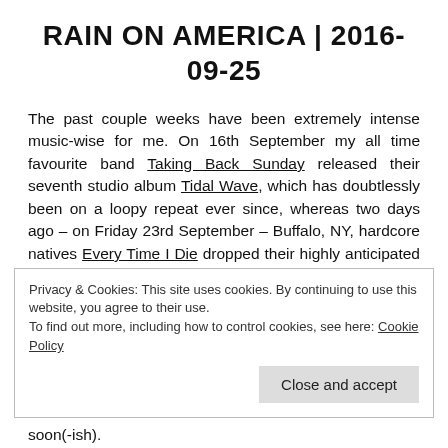RAIN ON AMERICA | 2016-09-25
The past couple weeks have been extremely intense music-wise for me. On 16th September my all time favourite band Taking Back Sunday released their seventh studio album Tidal Wave, which has doubtlessly been on a loopy repeat ever since, whereas two days ago – on Friday 23rd September – Buffalo, NY, hardcore natives Every Time I Die dropped their highly anticipated and already acclaimed new LP Low Teens. Both made (and are still making...) for a very dense musical listening
Privacy & Cookies: This site uses cookies. By continuing to use this website, you agree to their use.
To find out more, including how to control cookies, see here: Cookie Policy
soon(-ish).